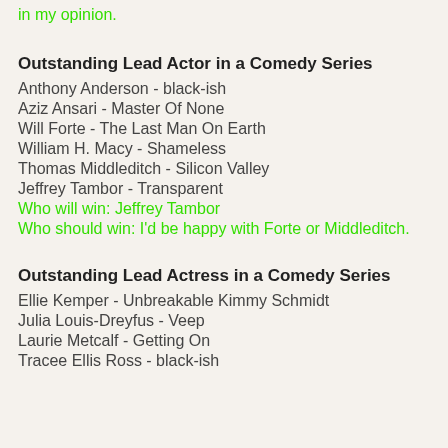in my opinion.
Outstanding Lead Actor in a Comedy Series
Anthony Anderson - black-ish
Aziz Ansari - Master Of None
Will Forte - The Last Man On Earth
William H. Macy - Shameless
Thomas Middleditch - Silicon Valley
Jeffrey Tambor - Transparent
Who will win: Jeffrey Tambor
Who should win: I'd be happy with Forte or Middleditch.
Outstanding Lead Actress in a Comedy Series
Ellie Kemper - Unbreakable Kimmy Schmidt
Julia Louis-Dreyfus - Veep
Laurie Metcalf - Getting On
Tracee Ellis Ross - black-ish